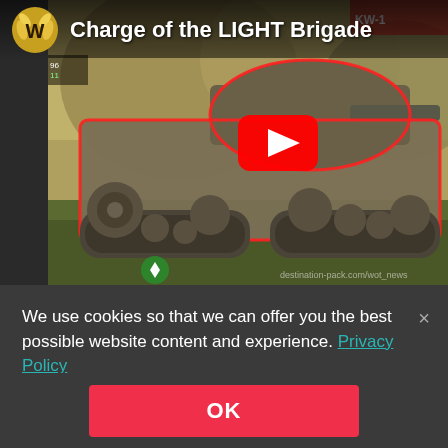[Figure (screenshot): YouTube video thumbnail showing World of Tanks game screenshot. A large Soviet tank with red outline highlights is shown in a battle scene. The video player overlay includes the World of Tanks logo (gold laurel wreath with W), video title 'Charge of the LIGHT Brigade', and a YouTube play button (red rounded rectangle with white triangle). A left sidebar strip is visible on the left edge.]
We use cookies so that we can offer you the best possible website content and experience. Privacy Policy
OK